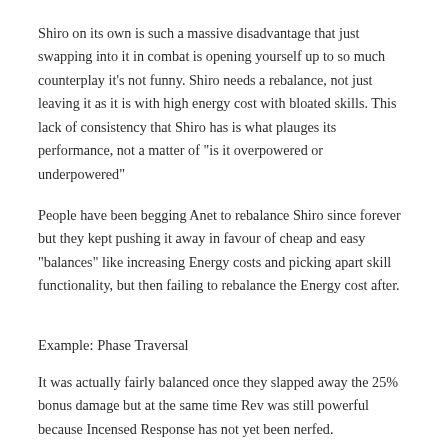Shiro on its own is such a massive disadvantage that just swapping into it in combat is opening yourself up to so much counterplay it's not funny. Shiro needs a rebalance, not just leaving it as it is with high energy cost with bloated skills. This lack of consistency that Shiro has is what plauges its performance, not a matter of "is it overpowered or underpowered"
People have been begging Anet to rebalance Shiro since forever but they kept pushing it away in favour of cheap and easy "balances" like increasing Energy costs and picking apart skill functionality, but then failing to rebalance the Energy cost after.
Example: Phase Traversal
It was actually fairly balanced once they slapped away the 25% bonus damage but at the same time Rev was still powerful because Incensed Response has not yet been nerfed.
Then even after Incensed was nerfed, they increased its cooldown to 12s. 7 whole seconds up from the 5s original cooldown ontop of the skill costing 35 energy already, which is 1/3 of your Energy or more than half of a fresh